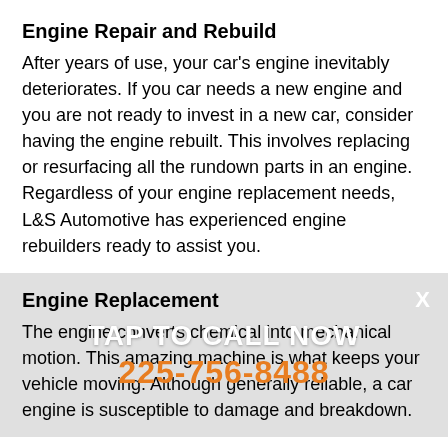Engine Repair and Rebuild
After years of use, your car's engine inevitably deteriorates. If you car needs a new engine and you are not ready to invest in a new car, consider having the engine rebuilt. This involves replacing or resurfacing all the rundown parts in an engine. Regardless of your engine replacement needs, L&S Automotive has experienced engine rebuilders ready to assist you.
Engine Replacement
The engine converts chemical into mechanical motion. This amazing machine is what keeps your vehicle moving. Although generally reliable, a car engine is susceptible to damage and breakdown.
TAP TO CALL NOW
225-756-8488